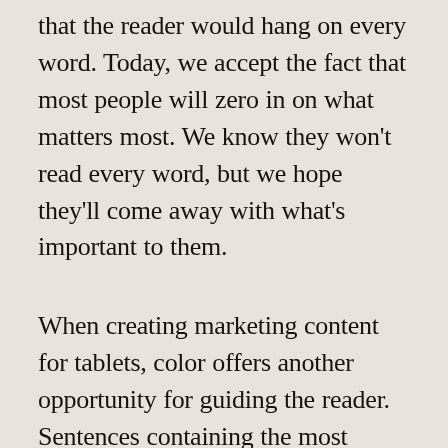that the reader would hang on every word. Today, we accept the fact that most people will zero in on what matters most. We know they won't read every word, but we hope they'll come away with what's important to them.
When creating marketing content for tablets, color offers another opportunity for guiding the reader. Sentences containing the most important thoughts or arguments can be highlighted in different colors. Small graphic elements such as photos and icons can be woven into the